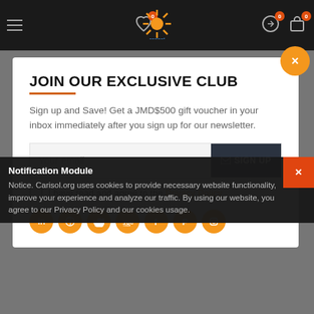[Figure (screenshot): Website navigation bar with hamburger menu, heart icon, logo, exchange icon, and cart icon on dark background]
JOIN OUR EXCLUSIVE CLUB
Sign up and Save! Get a JMD$500 gift voucher in your inbox immediately after you sign up for our newsletter.
Your email   SIGN UP
I have read and agree to the Privacy Policy
[Figure (illustration): Row of 7 orange social media icons: LinkedIn, globe, Twitter, YouTube, Facebook, Pinterest, Instagram]
Notification Module
Notice. Carisol.org uses cookies to provide necessary website functionality, improve your experience and analyze our traffic. By using our website, you agree to our Privacy Policy and our cookies usage.